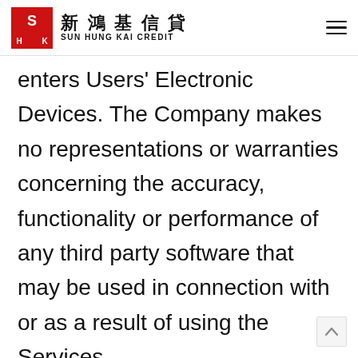新鴻基信貸 SUN HUNG KAI CREDIT
enters Users' Electronic Devices. The Company makes no representations or warranties concerning the accuracy, functionality or performance of any third party software that may be used in connection with or as a result of using the Services.